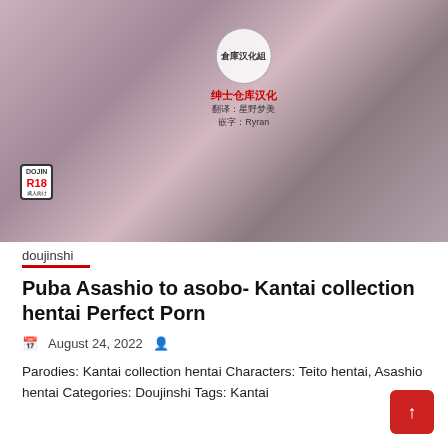[Figure (illustration): Anime/manga style illustration cover of a doujinshi, showing an adult-themed scene with R18 badge in lower left and Chinese text overlay indicating translation group credits.]
doujinshi
Puba Asashio to asobo- Kantai collection hentai Perfect Porn
August 24, 2022
Parodies: Kantai collection hentai Characters: Teito hentai, Asashio hentai Categories: Doujinshi Tags: Kantai